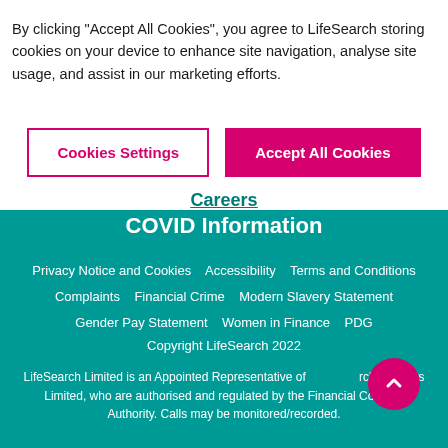By clicking “Accept All Cookies”, you agree to LifeSearch storing cookies on your device to enhance site navigation, analyse site usage, and assist in our marketing efforts.
Cookies Settings
Accept All Cookies
Careers
COVID Information
Privacy Notice and Cookies   Accessibility   Terms and Conditions   Complaints   Financial Crime   Modern Slavery Statement   Gender Pay Statement   Women in Finance   PDG
Copyright LifeSearch 2022
LifeSearch Limited is an Appointed Representative of Search Partners Limited, who are authorised and regulated by the Financial Conduct Authority. Calls may be monitored/recorded.